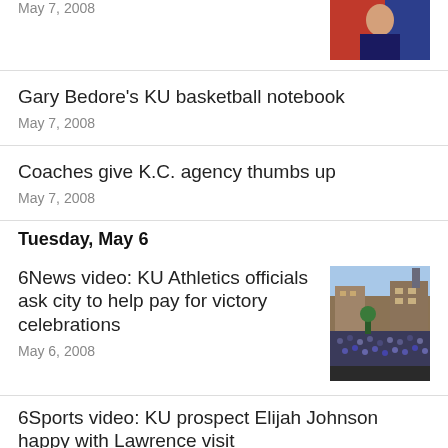May 7, 2008
[Figure (photo): Partial photo visible at top right, person with red and blue backdrop]
Gary Bedore's KU basketball notebook
May 7, 2008
Coaches give K.C. agency thumbs up
May 7, 2008
Tuesday, May 6
6News video: KU Athletics officials ask city to help pay for victory celebrations
[Figure (photo): Large crowd gathered on a street, buildings visible in background, outdoor celebration scene]
May 6, 2008
6Sports video: KU prospect Elijah Johnson happy with Lawrence visit